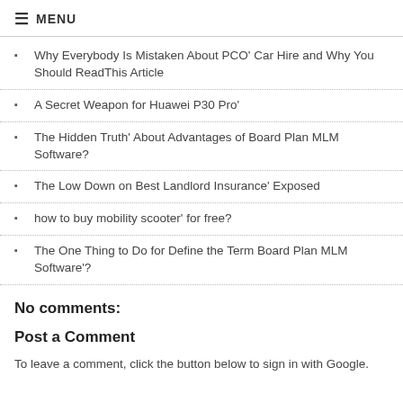≡ MENU
Why Everybody Is Mistaken About PCO' Car Hire and Why You Should ReadThis Article
A Secret Weapon for Huawei P30 Pro'
The Hidden Truth' About Advantages of Board Plan MLM Software?
The Low Down on Best Landlord Insurance' Exposed
how to buy mobility scooter' for free?
The One Thing to Do for Define the Term Board Plan MLM Software'?
No comments:
Post a Comment
To leave a comment, click the button below to sign in with Google.